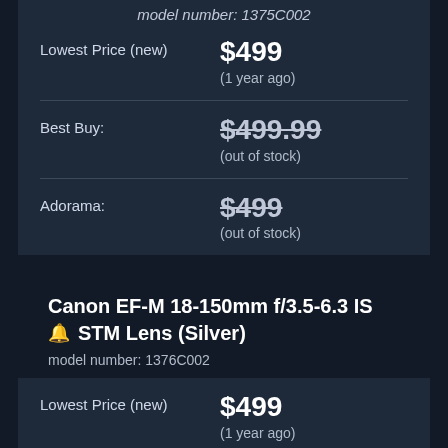model number: 1375C002
| Label | Value |
| --- | --- |
| Lowest Price (new) | $499
(1 year ago) |
| Best Buy: | $499.99 (out of stock) |
| Adorama: | $499 (out of stock) |
Canon EF-M 18-150mm f/3.5-6.3 IS STM Lens (Silver)
model number: 1376C002
| Label | Value |
| --- | --- |
| Lowest Price (new) | $499
(1 year ago) |
| Adorama: | $499
(out of stock) |